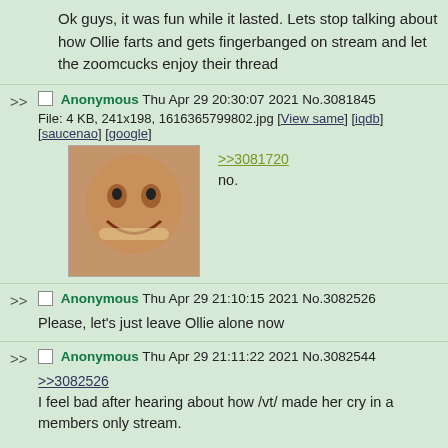Ok guys, it was fun while it lasted. Lets stop talking about how Ollie farts and gets fingerbanged on stream and let the zoomcucks enjoy their thread
>> Anonymous Thu Apr 29 20:30:07 2021 No.3081845
File: 4 KB, 241x198, 1616365799802.jpg [View same] [iqdb] [saucenao] [google]
>>3081720
no.
>> Anonymous Thu Apr 29 21:10:15 2021 No.3082526
Please, let's just leave Ollie alone now
>> Anonymous Thu Apr 29 21:11:22 2021 No.3082544
>>3082526
I feel bad after hearing about how /vt/ made her cry in a members only stream.